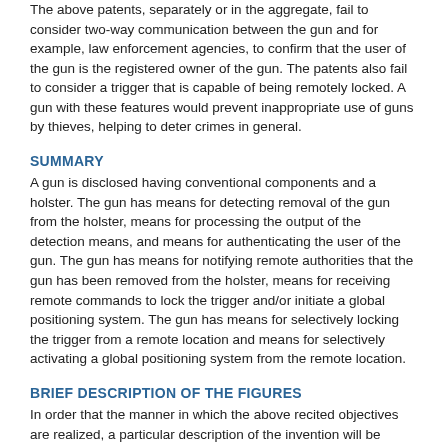The above patents, separately or in the aggregate, fail to consider two-way communication between the gun and for example, law enforcement agencies, to confirm that the user of the gun is the registered owner of the gun. The patents also fail to consider a trigger that is capable of being remotely locked. A gun with these features would prevent inappropriate use of guns by thieves, helping to deter crimes in general.
SUMMARY
A gun is disclosed having conventional components and a holster. The gun has means for detecting removal of the gun from the holster, means for processing the output of the detection means, and means for authenticating the user of the gun. The gun has means for notifying remote authorities that the gun has been removed from the holster, means for receiving remote commands to lock the trigger and/or initiate a global positioning system. The gun has means for selectively locking the trigger from a remote location and means for selectively activating a global positioning system from the remote location.
BRIEF DESCRIPTION OF THE FIGURES
In order that the manner in which the above recited objectives are realized, a particular description of the invention will be rendered by reference to specific embodiments thereof that are illustrated in the appended drawings. Understanding that the drawings depict only typical embodiments of the invention and are not therefore, to be considered to be limiting of its scope, the invention will be described and explained with additional specificity and